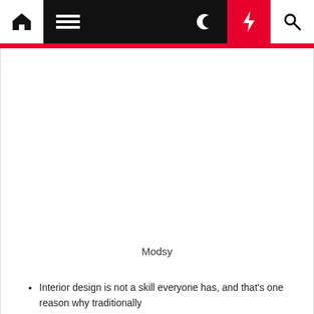Navigation bar with home, menu, moon, flash, and search icons
[Figure (illustration): Large white rectangular image area placeholder for Modsy interior design content]
Modsy
Interior design is not a skill everyone has, and that's one reason why traditionally